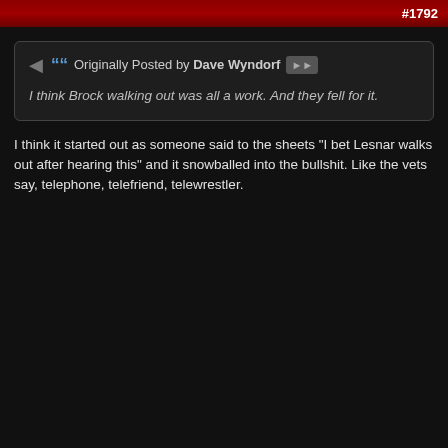#1792
Originally Posted by Dave Wyndorf
I think Brock walking out was all a work. And they fell for it.
I think it started out as someone said to the sheets "I bet Lesnar walks out after hearing this" and it snowballed into the bullshit. Like the vets say, telephone, telefriend, telewrestler.
Reply With Quote
#1793
Shocked and happy to see Cross back and that's a much better debut than jobbing in your first match. I wonder if he's going after